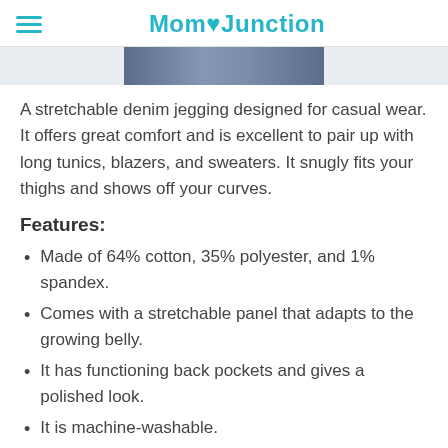MomJunction
[Figure (photo): Partial image of a denim jegging product shown from the waist/hip area]
A stretchable denim jegging designed for casual wear. It offers great comfort and is excellent to pair up with long tunics, blazers, and sweaters. It snugly fits your thighs and shows off your curves.
Features:
Made of 64% cotton, 35% polyester, and 1% spandex.
Comes with a stretchable panel that adapts to the growing belly.
It has functioning back pockets and gives a polished look.
It is machine-washable.